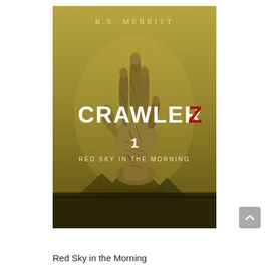[Figure (illustration): Book cover for 'CRAWLERZ 1: Red Sky in the Morning' by R.S. Merritt. The cover features a dark olive/golden background with Egyptian pyramids at the bottom. Rising from the ground is a large, cracked stone or zombie-like hand/claw reaching upward. The title 'CRAWLERZ' is displayed in large bold white text with the 'Z' in dark red. Below the title is a '1' and then 'RED SKY IN THE MORNING' in smaller spaced white text. The author name 'R.S. MERRITT' appears at the top in spaced serif letters.]
Red Sky in the Morning